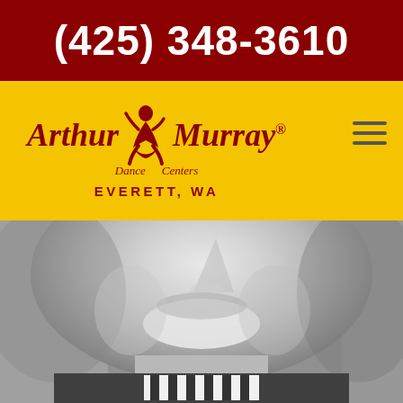(425) 348-3610
[Figure (logo): Arthur Murray Dance Centers logo with dancer silhouette, EVERETT, WA subtitle, and hamburger menu icon on yellow background]
[Figure (photo): Black and white close-up photo of a smiling man wearing a striped bow tie]